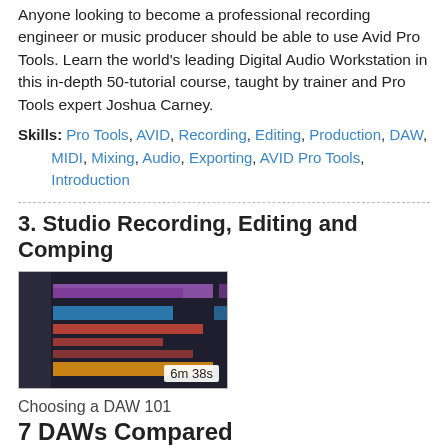Anyone looking to become a professional recording engineer or music producer should be able to use Avid Pro Tools. Learn the world's leading Digital Audio Workstation in this in-depth 50-tutorial course, taught by trainer and Pro Tools expert Joshua Carney.
Skills: Pro Tools, AVID, Recording, Editing, Production, DAW, MIDI, Mixing, Audio, Exporting, AVID Pro Tools, Introduction
3. Studio Recording, Editing and Comping
[Figure (screenshot): Screenshot of a DAW (Pro Tools) interface showing multiple colored audio tracks. Duration badge shows 6m 38s.]
Choosing a DAW 101
7 DAWs Compared
In this course, audio producer and engineer Joshua Carney takes a look at seven popular DAWs to compare their similarities and differences. Join him and discover the one that is right for YOU!
Skills: Josh, Carney, Josh Carney, DAW,